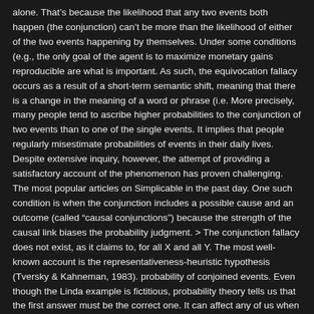alone. That's because the likelihood that any two events both happen (the conjunction) can't be more than the likelihood of either of the two events happening by themselves. Under some conditions (e.g., the only goal of the agent is to maximize monetary gains reproducible are what is important. As such, the equivocation fallacy occurs as a result of a short-term semantic shift, meaning that there is a change in the meaning of a word or phrase (i.e. More precisely, many people tend to ascribe higher probabilities to the conjunction of two events than to one of the single events. It implies that people regularly misestimate probabilities of events in their daily lives. Despite extensive inquiry, however, the attempt of providing a satisfactory account of the phenomenon has proven challenging. The most popular articles on Simplicable in the past day. One such condition is when the conjunction includes a possible cause and an outcome (called “causal conjunctions”) because the strength of the causal link biases the probability judgment. > The conjunction fallacy does not exist, as it claims to, for all X and all Y. The most well-known account is the representativeness-heuristic hypothesis (Tversky & Kahneman, 1983). probability of conjoined events. Even though the Linda example is fictitious, probability theory tells us that the first answer must be the correct one. It can affect any of us when we are assessing the probability of a future event by looking at past events that are similar. It should become less wrong by recanting. Even though the Linda example is fictitious, probability theory tells us that the first answer must be the correct one. The difference between logic and intelligence. The probability is naturally driven